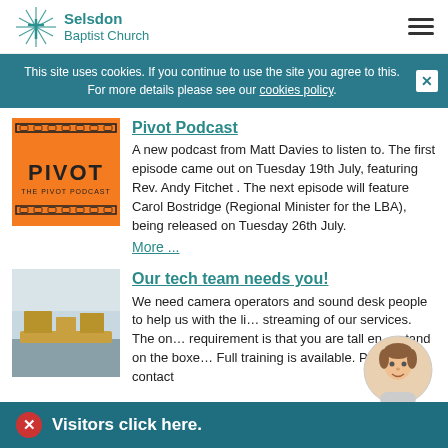Selsdon Baptist Church
This site uses cookies. If you continue to use the site you agree to this. For more details please see our cookies policy.
Pivot Podcast
A new podcast from Matt Davies to listen to. The first episode came out on Tuesday 19th July, featuring Rev. Andy Fitchet . The next episode will feature Carol Bostridge (Regional Minister for the LBA), being released on Tuesday 26th July.
More ...
Our tech team needs you!
We need camera operators and sound desk people to help us with the live streaming of our services. The only requirement is that you are tall enough to stand on the boxes. Full training is available. Please contact
Visitors click here.